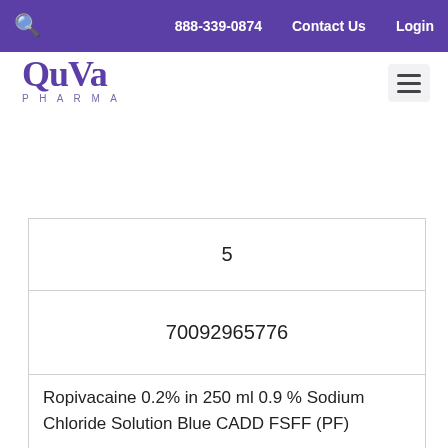888-339-0874   Contact Us   Login
[Figure (logo): QuVa Pharma logo in purple]
| 5 |
| 70092965776 |
| Ropivacaine 0.2% in 250 ml 0.9 % Sodium Chloride Solution Blue CADD FSFF (PF) |
| Sterile to Sterile |
| 90 |